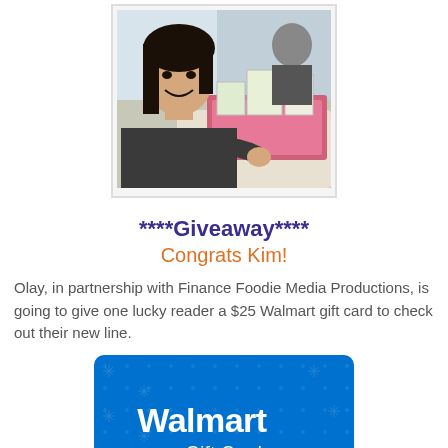[Figure (photo): Photo of a young woman smiling at a product display table with boxes and packages, seated at a booth]
****Giveaway****
Congrats Kim!
Olay, in partnership with Finance Foodie Media Productions, is going to give one lucky reader a $25 Walmart gift card to check out their new line.
[Figure (photo): Walmart Gift Card image — blue card with white Walmart logo and yellow spark/asterisk icon and text 'Gift Card']